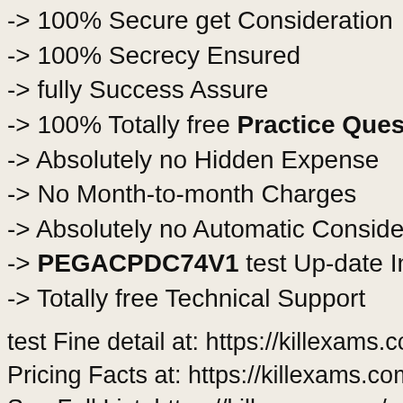-> 100% Secure get Consideration
-> 100% Secrecy Ensured
-> fully Success Assure
-> 100% Totally free Practice Questions s
-> Absolutely no Hidden Expense
-> No Month-to-month Charges
-> Absolutely no Automatic Consideration R
-> PEGACPDC74V1 test Up-date Intimatio
-> Totally free Technical Support
test Fine detail at: https://killexams.com/pa
Pricing Facts at: https://killexams.com/exa
See Full List: https://killexams.com/vendor
Low cost Coupon about Full PEGACPDC7
WC2020: 60% Smooth Discount to each o
PROF17: 10% Additional Discount about V
DEAL17: 15% Additional Discount about V